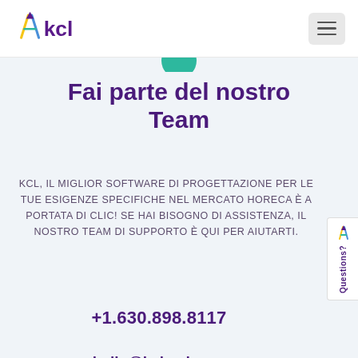[Figure (logo): KCL logo with colored compass/pencil icon and purple KCL text]
Fai parte del nostro Team
KCL, IL MIGLIOR SOFTWARE DI PROGETTAZIONE PER LE TUE ESIGENZE SPECIFICHE NEL MERCATO HORECA È A PORTATA DI CLIC! SE HAI BISOGNO DI ASSISTENZA, IL NOSTRO TEAM DI SUPPORTO È QUI PER AIUTARTI.
+1.630.898.8117
hello@kclcad.com